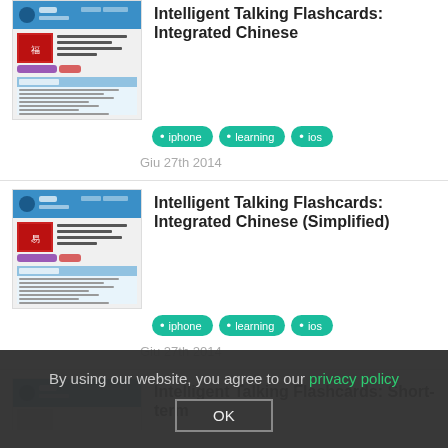[Figure (screenshot): Thumbnail screenshot of Intelligent Talking Flashcards app page for Integrated Chinese (Traditional)]
Intelligent Talking Flashcards: Integrated Chinese
• iphone
• learning
• ios
Giu 27th 2014
[Figure (screenshot): Thumbnail screenshot of Intelligent Talking Flashcards app page for Integrated Chinese (Simplified)]
Intelligent Talking Flashcards: Integrated Chinese (Simplified)
• iphone
• learning
• ios
Giu 27th 2014
[Figure (screenshot): Thumbnail screenshot of Intelligent Talking Flashcards: Short-term app page (partially visible)]
Intelligent Talking Flashcards: Short-term
By using our website, you agree to our privacy policy
OK